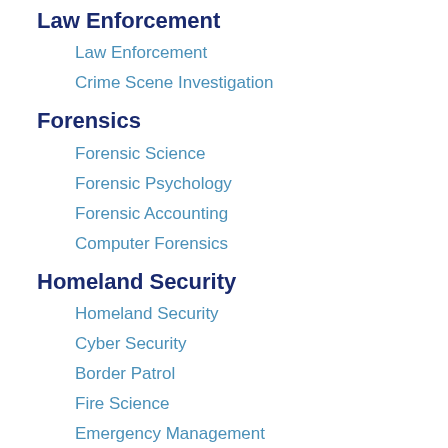Law Enforcement
Law Enforcement
Crime Scene Investigation
Forensics
Forensic Science
Forensic Psychology
Forensic Accounting
Computer Forensics
Homeland Security
Homeland Security
Cyber Security
Border Patrol
Fire Science
Emergency Management
Legal & Courts
Paralegal
Legal Studies